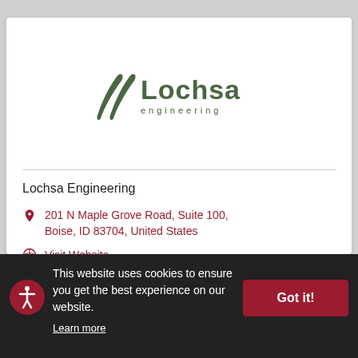[Figure (logo): Lochsa Engineering logo — green stylized double-slash mark and green text reading 'Lochsa engineering']
Lochsa Engineering
201 N Maple Grove Road, Suite 100, Boise, ID 83704, United States
Visit Website
This website uses cookies to ensure you get the best experience on our website. Learn more
Got it!